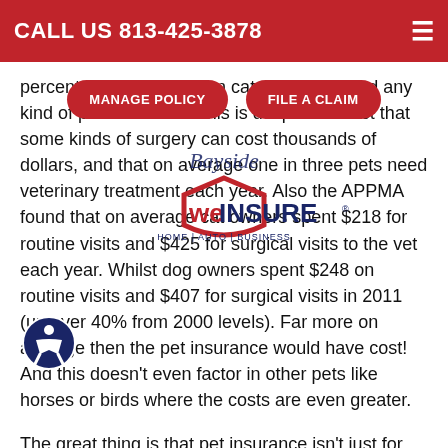CALL US 813-425-3878
[Figure (other): WeInsure logo with Bayside script text overlay and HOME | AUTO | BUSINESS tagline]
percent of the 86.4 million cats in the US had any kind of pet insurance. This is despite the fact that some kinds of surgery can cost thousands of dollars, and that on average one in three pets need veterinary treatment each year. Also the APPMA found that on average cat owners spent $218 for routine visits and $425 for surgical visits to the vet each year. Whilst dog owners spent $248 on routine visits and $407 for surgical visits in 2011 (up over 40% from 2000 levels). Far more on average then the pet insurance would have cost! And this doesn't even factor in other pets like horses or birds where the costs are even greater.
The great thing is that pet insurance isn't just for dogs or cats. You can get policies that will cover rabbits, reptiles, horses, birds and even exotic species. And the advantages of doing so are that you can have the peace of mind of knowing that if there is a problem that